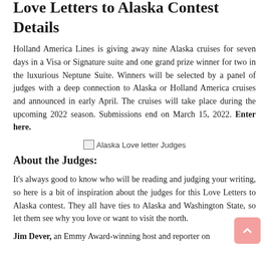Love Letters to Alaska Contest Details
Holland America Lines is giving away nine Alaska cruises for seven days in a Visa or Signature suite and one grand prize winner for two in the luxurious Neptune Suite. Winners will be selected by a panel of judges with a deep connection to Alaska or Holland America cruises and announced in early April. The cruises will take place during the upcoming 2022 season. Submissions end on March 15, 2022. Enter here.
[Figure (photo): Alaska Love letter Judges — broken/missing image placeholder]
About the Judges:
It's always good to know who will be reading and judging your writing, so here is a bit of inspiration about the judges for this Love Letters to Alaska contest. They all have ties to Alaska and Washington State, so let them see why you love or want to visit the north.
Jim Dever, an Emmy Award-winning host and reporter on